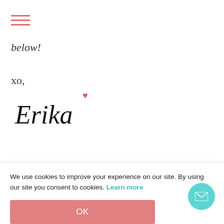[Figure (other): Hamburger menu icon with three horizontal salmon/pink lines]
below!
xo,
[Figure (illustration): Handwritten cursive signature reading 'Erika' with a small red heart above the letter i]
We use cookies to improve your experience on our site. By using our site you consent to cookies. Learn more
OK
[Figure (other): Teal/cyan circular button with a white envelope/mail icon]